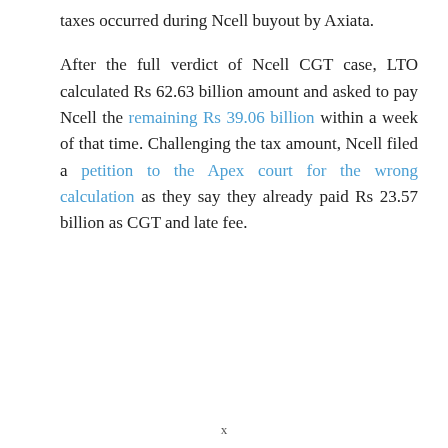taxes occurred during Ncell buyout by Axiata.
After the full verdict of Ncell CGT case, LTO calculated Rs 62.63 billion amount and asked to pay Ncell the remaining Rs 39.06 billion within a week of that time. Challenging the tax amount, Ncell filed a petition to the Apex court for the wrong calculation as they say they already paid Rs 23.57 billion as CGT and late fee.
x